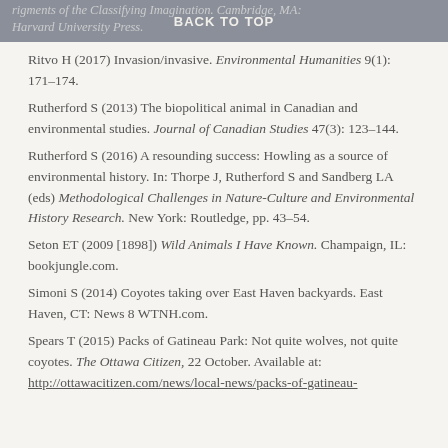BACK TO TOP
Ritvo H (2017) Invasion/invasive. Environmental Humanities 9(1): 171–174.
Rutherford S (2013) The biopolitical animal in Canadian and environmental studies. Journal of Canadian Studies 47(3): 123–144.
Rutherford S (2016) A resounding success: Howling as a source of environmental history. In: Thorpe J, Rutherford S and Sandberg LA (eds) Methodological Challenges in Nature-Culture and Environmental History Research. New York: Routledge, pp. 43–54.
Seton ET (2009 [1898]) Wild Animals I Have Known. Champaign, IL: bookjungle.com.
Simoni S (2014) Coyotes taking over East Haven backyards. East Haven, CT: News 8 WTNH.com.
Spears T (2015) Packs of Gatineau Park: Not quite wolves, not quite coyotes. The Ottawa Citizen, 22 October. Available at: http://ottawacitizen.com/news/local-news/packs-of-gatineau-